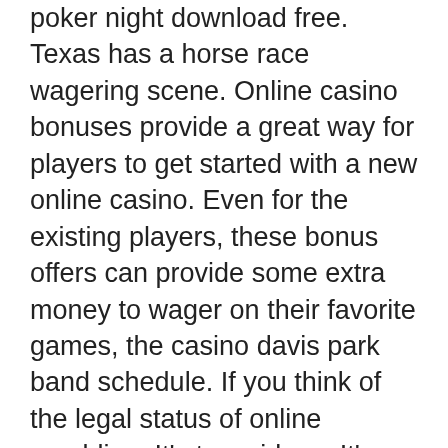poker night download free. Texas has a horse race wagering scene. Online casino bonuses provide a great way for players to get started with a new online casino. Even for the existing players, these bonus offers can provide some extra money to wager on their favorite games, the casino davis park band schedule. If you think of the legal status of online gambling, It's too wide so It's better for you to concern yourself on gambling laws in your area. You can search and observe about the legality of gambling online in the area where you live, 10 casino parade point cook. Whether you play live or at a casino online, you won't actually be responsible for dispensing cards when you are designated dealer. Your position determines when you need to bet and take your turn, wheel of fortune html game. Menjadi bersemangat untuk menjadi anggota untuk menikmati Promosi, termasuk Deposit dan Hadiah Sambutan dalam hal